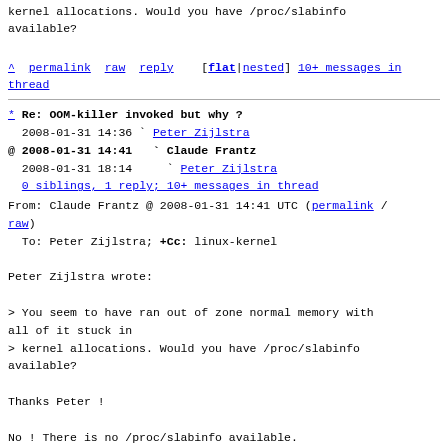kernel allocations. Would you have /proc/slabinfo available?
^ permalink raw reply   [flat|nested] 10+ messages in thread
* Re: OOM-killer invoked but why ?
  2008-01-31 14:36 ` Peter Zijlstra
@ 2008-01-31 14:41   ` Claude Frantz
  2008-01-31 18:14     ` Peter Zijlstra
  0 siblings, 1 reply; 10+ messages in thread
From: Claude Frantz @ 2008-01-31 14:41 UTC (permalink / raw)
  To: Peter Zijlstra; +Cc: linux-kernel
Peter Zijlstra wrote:

> You seem to have ran out of zone normal memory with all of it stuck in
> kernel allocations. Would you have /proc/slabinfo available?

Thanks Peter !

No ! There is no /proc/slabinfo available.

Claude
^ permalink raw reply   [flat|nested] 10+ messages in